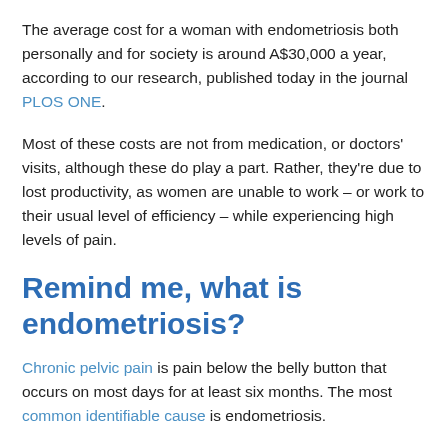The average cost for a woman with endometriosis both personally and for society is around A$30,000 a year, according to our research, published today in the journal PLOS ONE.
Most of these costs are not from medication, or doctors' visits, although these do play a part. Rather, they're due to lost productivity, as women are unable to work – or work to their usual level of efficiency – while experiencing high levels of pain.
Remind me, what is endometriosis?
Chronic pelvic pain is pain below the belly button that occurs on most days for at least six months. The most common identifiable cause is endometriosis.